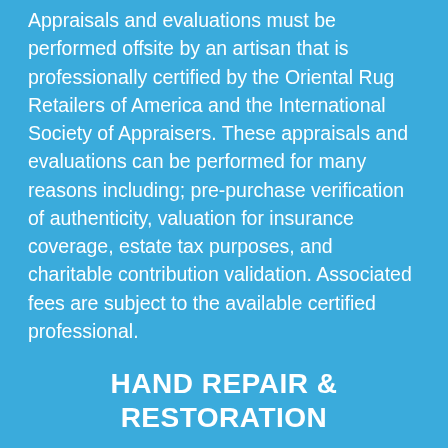Appraisals and evaluations must be performed offsite by an artisan that is professionally certified by the Oriental Rug Retailers of America and the International Society of Appraisers. These appraisals and evaluations can be performed for many reasons including; pre-purchase verification of authenticity, valuation for insurance coverage, estate tax purposes, and charitable contribution validation. Associated fees are subject to the available certified professional.
HAND REPAIR & RESTORATION
Over time your rug will inevitably start to show signs of wear and tear. There are many types of rugs ranging from hand-made Orientals, Navajo, hand woven, loomed, Persians, to machine-made. Once your rug has reached a point of requiring repairs or restoration we will call in the